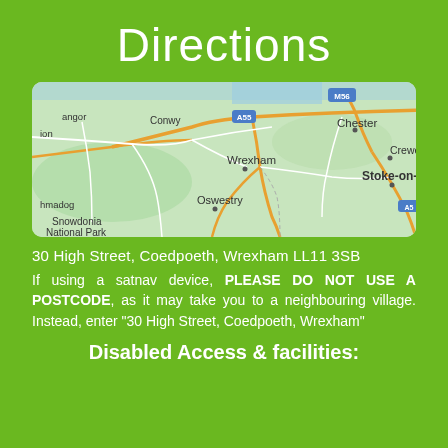Directions
[Figure (map): Google Maps screenshot showing region around Wrexham, Wales, UK, with labeled places including Conwy, Chester, Crewe, Stoke-on-Trent, Oswestry, Snowdonia National Park, Porthmadog, and road labels M56, A55, A5.]
30 High Street, Coedpoeth, Wrexham LL11 3SB
If using a satnav device, PLEASE DO NOT USE A POSTCODE, as it may take you to a neighbouring village. Instead, enter "30 High Street, Coedpoeth, Wrexham"
Disabled Access & facilities: